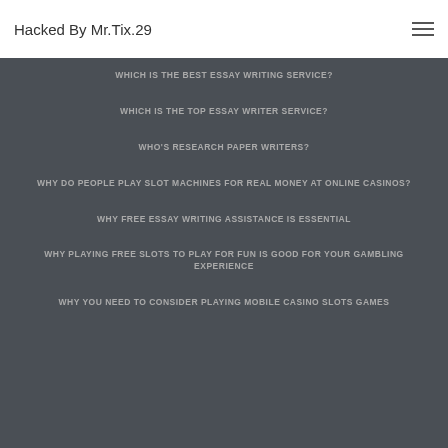Hacked By Mr.Tix.29
WHICH IS THE BEST ESSAY WRITING SERVICE?
WHICH IS THE TOP ESSAY WRITER SERVICE?
WHO'S RESEARCH PAPER WRITERS?
WHY DO PEOPLE PLAY SLOT MACHINES FOR REAL MONEY AT ONLINE CASINOS?
WHY FREE ESSAY WRITING ASSISTANCE IS ESSENTIAL
WHY PLAYING FREE SLOTS TO PLAY FOR FUN IS GOOD FOR YOUR GAMBLING EXPERIENCE
WHY YOU NEED TO CONSIDER PLAYING MOBILE CASINO SLOTS GAMES